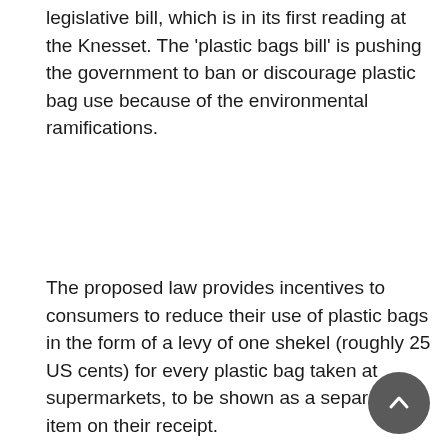legislative bill, which is in its first reading at the Knesset. The 'plastic bags bill' is pushing the government to ban or discourage plastic bag use because of the environmental ramifications.
The proposed law provides incentives to consumers to reduce their use of plastic bags in the form of a levy of one shekel (roughly 25 US cents) for every plastic bag taken at supermarkets, to be shown as a separate item on their receipt.
Zalul, an Israeli Environmental Association is also working on ways to petition for limiting plastic bag use in Israel, through the promotion of using less plastics, increasing the number of Recycling Bins, and new technology for thin bags that do not require plastic and are able to decompose faster.